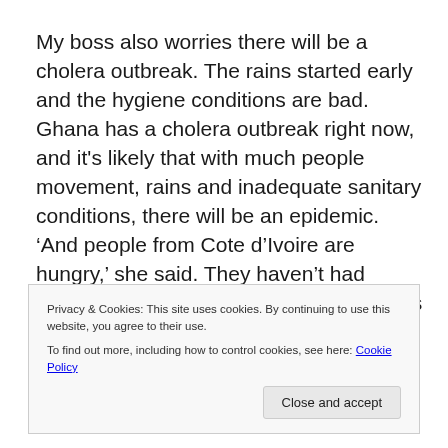My boss also worries there will be a cholera outbreak. The rains started early and the hygiene conditions are bad. Ghana has a cholera outbreak right now, and it's likely that with much people movement, rains and inadequate sanitary conditions, there will be an epidemic. 'And people from Cote d'Ivoire are hungry,' she said. They haven't had access to cash for weeks as all the banks are closed and food stocks are used up. We are feeling this even here in
Privacy & Cookies: This site uses cookies. By continuing to use this website, you agree to their use.
To find out more, including how to control cookies, see here: Cookie Policy
Close and accept